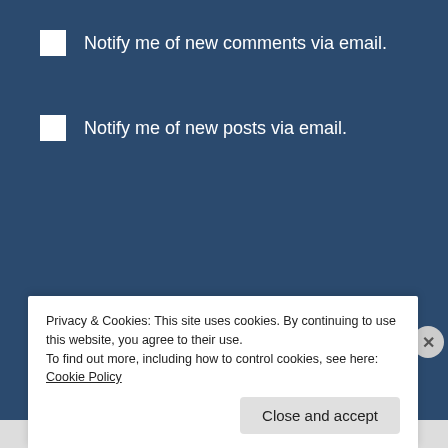Notify me of new comments via email.
Notify me of new posts via email.
Proudly Powered by WordPress
Privacy & Cookies: This site uses cookies. By continuing to use this website, you agree to their use.
To find out more, including how to control cookies, see here: Cookie Policy